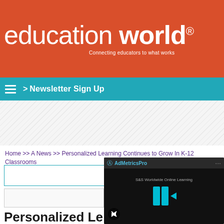education world® — Connecting educators to what works
> Newsletter Sign Up
Home >> A News >> Personalized Learning Continues to Grow In K-12 Classrooms
[Figure (screenshot): AdMetricsPro video player overlay showing S&S Worldwide Online Learning video with play button and mute icon]
Personalized Learning Continues to Grow In K-12 Classrooms